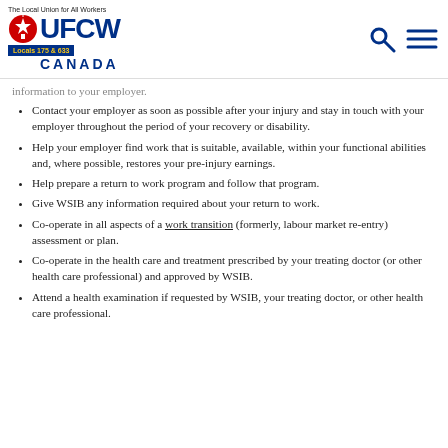UFCW Locals 175 & 633 Canada
information to your employer.
Contact your employer as soon as possible after your injury and stay in touch with your employer throughout the period of your recovery or disability.
Help your employer find work that is suitable, available, within your functional abilities and, where possible, restores your pre-injury earnings.
Help prepare a return to work program and follow that program.
Give WSIB any information required about your return to work.
Co-operate in all aspects of a work transition (formerly, labour market re-entry) assessment or plan.
Co-operate in the health care and treatment prescribed by your treating doctor (or other health care professional) and approved by WSIB.
Attend a health examination if requested by WSIB, your treating doctor, or other health care professional.